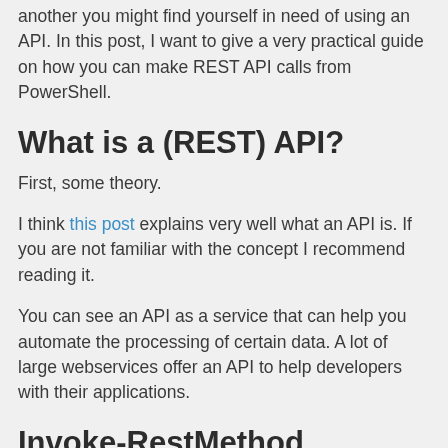another you might find yourself in need of using an API. In this post, I want to give a very practical guide on how you can make REST API calls from PowerShell.
What is a (REST) API?
First, some theory.
I think this post explains very well what an API is. If you are not familiar with the concept I recommend reading it.
You can see an API as a service that can help you automate the processing of certain data. A lot of large webservices offer an API to help developers with their applications.
Invoke-RestMethod
When you call a REST API from PowerShell, you will use